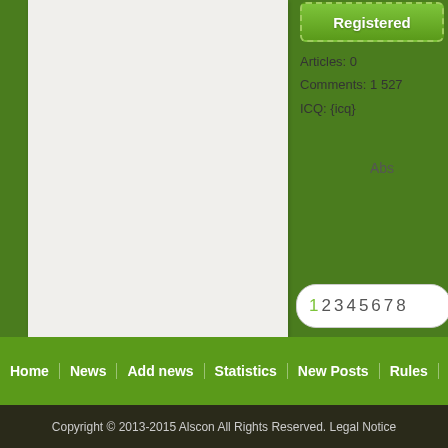[Figure (screenshot): Green website interface showing a left white content panel and right sidebar with user profile info]
Registered
Articles: 0
Comments: 1 527
ICQ: {icq}
Abs
1 2 3 4 5 6 7 8
Information
Users of Guests
Home | News | Add news | Statistics | New Posts | Rules |
Copyright © 2013-2015 Alscon All Rights Reserved. Legal Notice